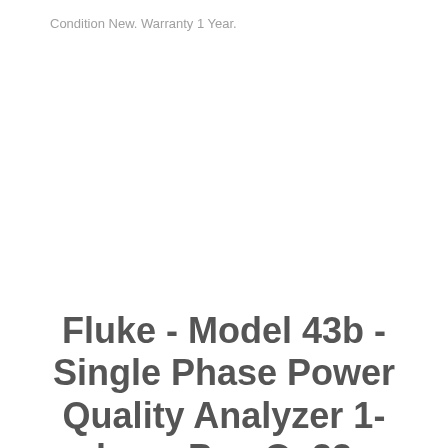Condition New. Warranty 1 Year.
Fluke - Model 43b - Single Phase Power Quality Analyzer 1-phase Pqa Ov33 - $1499.98